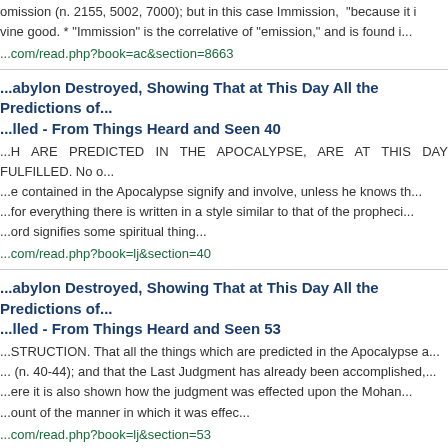omission (n. 2155, 5002, 7000); but in this case Immission, "because it is a divine good. * "Immission" is the correlative of "emission," and is found i...
...com/read.php?book=ac&section=8663
Babylon Destroyed, Showing That at This Day All the Predictions of... lled - From Things Heard and Seen 40
H ARE PREDICTED IN THE APOCALYPSE, ARE AT THIS DAY FULFILLED. No one can understand what things are contained in the Apocalypse signify and involve, unless he knows that for everything there is written in a style similar to that of the prophecies and every word signifies some spiritual thing...
...com/read.php?book=lj&section=40
Babylon Destroyed, Showing That at This Day All the Predictions of... lled - From Things Heard and Seen 53
STRUCTION. That all the things which are predicted in the Apocalypse a... (n. 40-44); and that the Last Judgment has already been accomplished, ...here it is also shown how the judgment was effected upon the Mohan... ount of the manner in which it was effec...
...com/read.php?book=lj&section=53
Babylon Destroyed, Showing That at This Day All the Predictions of... lled - From Things Heard and Seen 60
red, and their habitations made a desert. This I will here describe in a few... ... Then Bab...